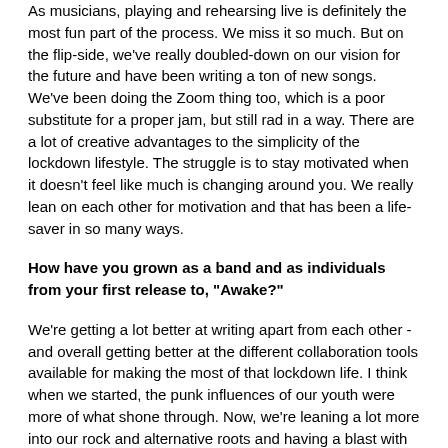As musicians, playing and rehearsing live is definitely the most fun part of the process. We miss it so much. But on the flip-side, we've really doubled-down on our vision for the future and have been writing a ton of new songs. We've been doing the Zoom thing too, which is a poor substitute for a proper jam, but still rad in a way. There are a lot of creative advantages to the simplicity of the lockdown lifestyle. The struggle is to stay motivated when it doesn't feel like much is changing around you. We really lean on each other for motivation and that has been a life-saver in so many ways.
How have you grown as a band and as individuals from your first release to, "Awake?"
We're getting a lot better at writing apart from each other - and overall getting better at the different collaboration tools available for making the most of that lockdown life. I think when we started, the punk influences of our youth were more of what shone through. Now, we're leaning a lot more into our rock and alternative roots and having a blast with it. I don't know if it honestly sounds like as much of a shift as it feels like for us, but going forward it is really opening up new creative possibilities.